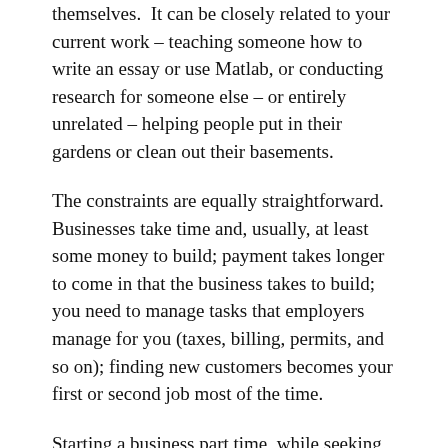themselves.  It can be closely related to your current work – teaching someone how to write an essay or use Matlab, or conducting research for someone else – or entirely unrelated – helping people put in their gardens or clean out their basements.
The constraints are equally straightforward. Businesses take time and, usually, at least some money to build; payment takes longer to come in that the business takes to build; you need to manage tasks that employers manage for you (taxes, billing, permits, and so on); finding new customers becomes your first or second job most of the time.
Starting a business part time, while seeking or holding a full-time job for another employer, has some significant advantages.  You learn whether your skill can become a viable business (you play and can teach cello, but does anyone wants to hire you to teach it?). You learn whether you actually like doing something for a living, or a partial living